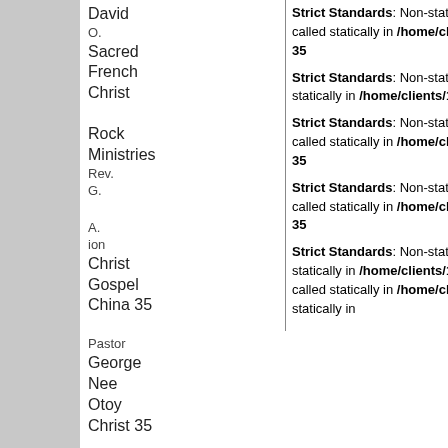David O. Sacred French Christ Rock Ministries Rev. G. A. ion Christ Gospel China 35 Pastor George Nee Otoy Christ 35 Model Church Ministries statically...
Strict Standards: Non-static method dt::_callback() should not be called statically in /home/clients/1d242f8790072fdd395c on line 35

Strict Standards: Non-static method dt::str() should not be called statically in /home/clients/1d242f8790072fdd395c on line 76

Strict Standards: Non-static method dt::_callback() should not be called statically in /home/clients/1d242f8790072fdd395c on line 35

Strict Standards: Non-static method dt::_callback() should not be called statically in /home/clients/1d242f8790072fdd395c on line 35

Strict Standards: Non-static method dt::str() should not be called statically in /home/clients/1d242f8790072fdd395c